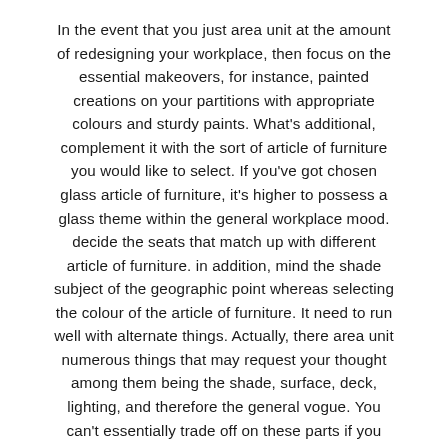In the event that you just area unit at the amount of redesigning your workplace, then focus on the essential makeovers, for instance, painted creations on your partitions with appropriate colours and sturdy paints. What's additional, complement it with the sort of article of furniture you would like to select. If you've got chosen glass article of furniture, it's higher to possess a glass theme within the general workplace mood. decide the seats that match up with different article of furniture. in addition, mind the shade subject of the geographic point whereas selecting the colour of the article of furniture. It need to run well with alternate things. Actually, there area unit numerous things that may request your thought among them being the shade, surface, deck, lighting, and therefore the general vogue. You can't essentially trade off on these parts if you really have to be compelled to improve your workplace area professionally and tolerably. Let's specialize in the classical concepts to embellish your workplace.